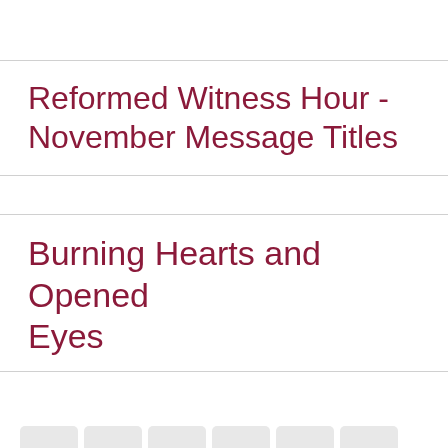Reformed Witness Hour - November Message Titles
Burning Hearts and Opened Eyes